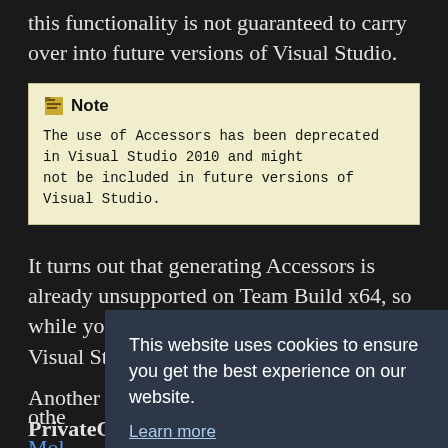this functionality is not guaranteed to carry over into future versions of Visual Studio.
Note
The use of Accessors has been deprecated in Visual Studio 2010 and might not be included in future versions of Visual Studio.
It turns out that generating Accessors is already unsupported on Team Build x64, so while your tests will work just fine inside Visual Studio, they won't in Team Bui[ld. There are othe[r] Moi[ng] pref[erred] Moi[ng]
This website uses cookies to ensure you get the best experience on our website. Learn more Got it!
Another workaround is to use the PrivateObject class